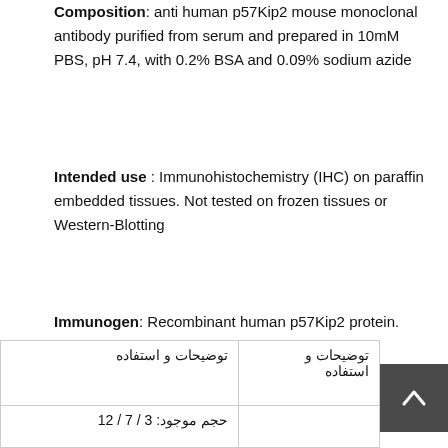Composition: anti human p57Kip2 mouse monoclonal antibody purified from serum and prepared in 10mM PBS, pH 7.4, with 0.2% BSA and 0.09% sodium azide
Intended use : Immunohistochemistry (IHC) on paraffin embedded tissues. Not tested on frozen tissues or Western-Blotting
Immunogen: Recombinant human p57Kip2 protein.
دسته بندی ها: ,
,
| توضیحات و استفاده | توضیحات و استفاده |
| --- | --- |
| حجم موجود: 3 / 7 / 12 |  |